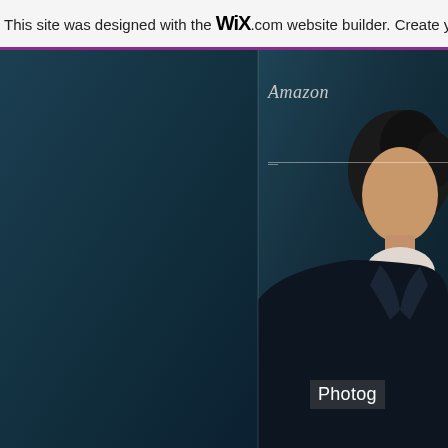This site was designed with the WiX.com website builder. Create yo
Amazon
[Figure (photo): Screenshot of a Wix-built website showing a dark teal/navy background with a professional headshot of a person in a dark suit, with the label 'Amazon' in italic text and a horizontal divider line, and partially visible text 'Photog' at the bottom right.]